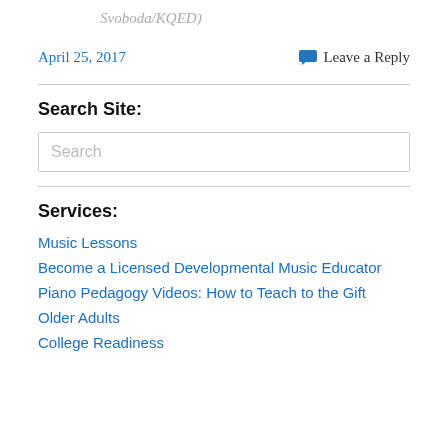Svoboda/KQED)
April 25, 2017
Leave a Reply
Search Site:
Search
Services:
Music Lessons
Become a Licensed Developmental Music Educator
Piano Pedagogy Videos: How to Teach to the Gift
Older Adults
College Readiness